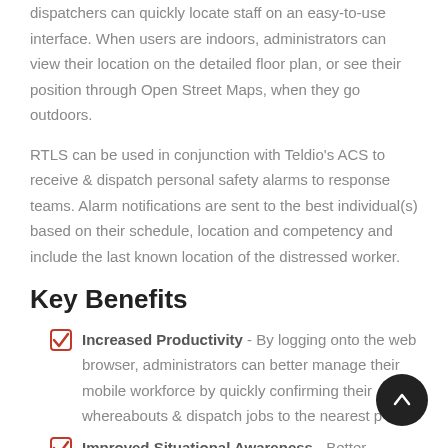dispatchers can quickly locate staff on an easy-to-use interface. When users are indoors, administrators can view their location on the detailed floor plan, or see their position through Open Street Maps, when they go outdoors.
RTLS can be used in conjunction with Teldio's ACS to receive & dispatch personal safety alarms to response teams. Alarm notifications are sent to the best individual(s) based on their schedule, location and competency and include the last known location of the distressed worker.
Key Benefits
Increased Productivity - By logging onto the web browser, administrators can better manage their mobile workforce by quickly confirming their whereabouts & dispatch jobs to the nearest p…
Improved Situational Awareness - Better respond…